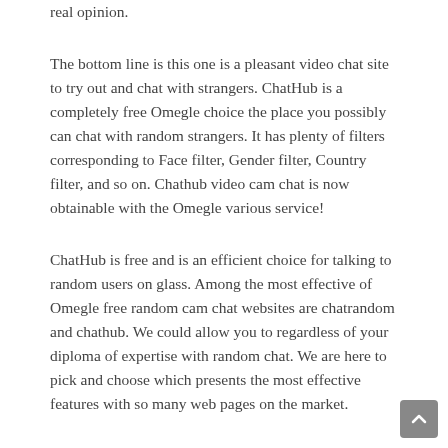real opinion.
The bottom line is this one is a pleasant video chat site to try out and chat with strangers. ChatHub is a completely free Omegle choice the place you possibly can chat with random strangers. It has plenty of filters corresponding to Face filter, Gender filter, Country filter, and so on. Chathub video cam chat is now obtainable with the Omegle various service!
ChatHub is free and is an efficient choice for talking to random users on glass. Among the most effective of Omegle free random cam chat websites are chatrandom and chathub. We could allow you to regardless of your diploma of expertise with random chat. We are here to pick and choose which presents the most effective features with so many web pages on the market.
In a method it’s a bit like taking half chathub.internet within the lottery, however Camgo makes sure that you just win. The internet has definitely revolutionized the communication sector.